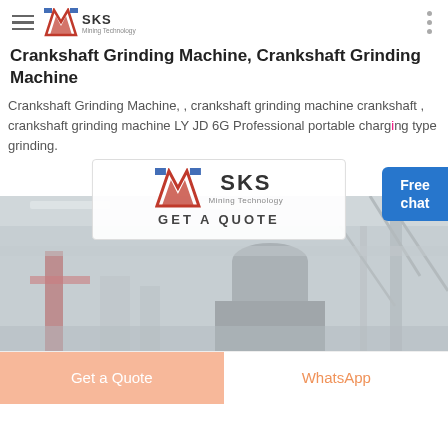SKS Mining Technology — navigation header
Crankshaft Grinding Machine, Crankshaft Grinding Machine
Crankshaft Grinding Machine, , crankshaft grinding machine crankshaft , crankshaft grinding machine LY JD 6G Professional portable charging type grinding.
[Figure (logo): SKS Mining Technology logo with GET A QUOTE popup overlay card]
[Figure (photo): Industrial facility interior showing large mining/grinding machinery under steel roof structure]
Get a Quote
WhatsApp